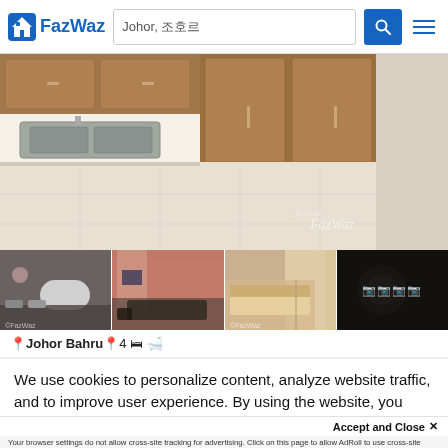[Figure (screenshot): FazWaz website header with logo, search bar showing 'Johor, 조호르', search button, and hamburger menu]
[Figure (photo): Main property photo showing a kitchen with brown wood cabinets, sink, countertop, and tiled floor with FazWaz watermark]
[Figure (photo): Four thumbnail photos: bathroom with sink, living room with pink walls, bedroom with curtains, dark overlay with text showing more photos]
📍Johor Bahru📍4 🛏 🛁
We use cookies to personalize content, analyze website traffic, and to improve user experience. By using the website, you agree to the use of cookies to collect information on and off FazWaz. Please read our Privacy Policy for full details.
Accept and Close ✕
Your browser settings do not allow cross-site tracking for advertising. Click on this page to allow AdRoll to use cross-site tracking to tailor ads to you. Learn more or opt out of this AdRoll tracking by clicking here. This message only appears once.